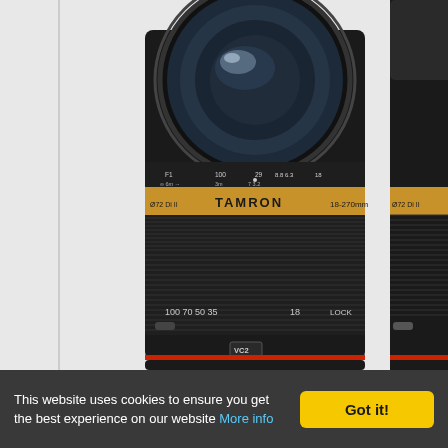[Figure (photo): Two Tamron camera lenses side by side on a white background. The main lens in the center is a Tamron 18-270mm zoom lens with a gold band showing the brand name TAMRON and focal length markings. The lens features a textured black barrel with zoom and focus rings, VC (Vibration Compensation) marking, and LOCK button. A second lens is partially visible on the right edge.]
This website uses cookies to ensure you get the best experience on our website More info
Got it!